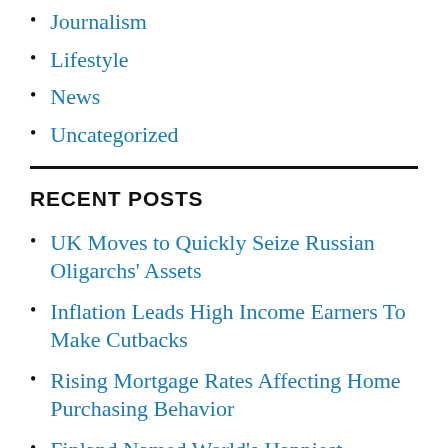Journalism
Lifestyle
News
Uncategorized
RECENT POSTS
UK Moves to Quickly Seize Russian Oligarchs' Assets
Inflation Leads High Income Earners To Make Cutbacks
Rising Mortgage Rates Affecting Home Purchasing Behavior
Finland Named World's Happiest Country for